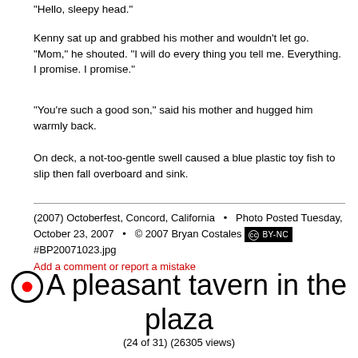"Hello, sleepy head."
Kenny sat up and grabbed his mother and wouldn't let go. "Mom," he shouted. "I will do every thing you tell me. Everything. I promise. I promise."
"You're such a good son," said his mother and hugged him warmly back.
On deck, a not-too-gentle swell caused a blue plastic toy fish to slip then fall overboard and sink.
(2007) Octoberfest, Concord, California  •  Photo Posted Tuesday, October 23, 2007  •  © 2007 Bryan Costales [cc] BY-NC
#BP20071023.jpg
Add a comment or report a mistake
A pleasant tavern in the plaza
(24 of 31) (26305 views)